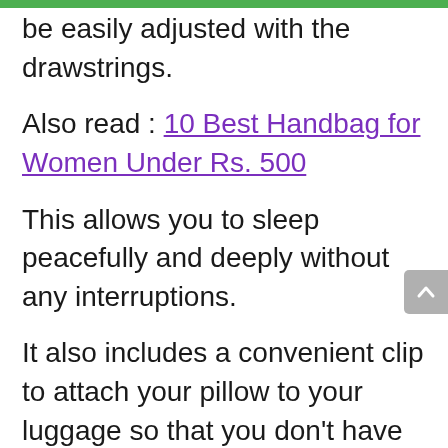be easily adjusted with the drawstrings.
Also read : 10 Best Handbag for Women Under Rs. 500
This allows you to sleep peacefully and deeply without any interruptions.
It also includes a convenient clip to attach your pillow to your luggage so that you don't have to carry it around in your hands.
And since the material is plush and soft, you would fall asleep in just a few minutes